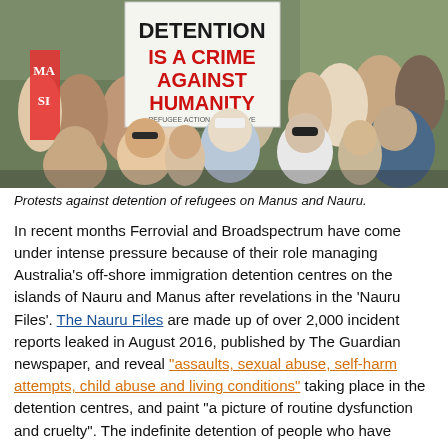[Figure (photo): Protest crowd photo showing people holding a sign reading 'DETENTION IS A CRIME AGAINST HUMANITY' with text 'REFUGEE ACTION COLLECTIVE' visible on the sign. Diverse crowd of protesters in an outdoor setting.]
Protests against detention of refugees on Manus and Nauru.
In recent months Ferrovial and Broadspectrum have come under intense pressure because of their role managing Australia's off-shore immigration detention centres on the islands of Nauru and Manus after revelations in the 'Nauru Files'. The Nauru Files are made up of over 2,000 incident reports leaked in August 2016, published by The Guardian newspaper, and reveal "assaults, sexual abuse, self-harm attempts, child abuse and living conditions" taking place in the detention centres, and paint "a picture of routine dysfunction and cruelty". The indefinite detention of people who have